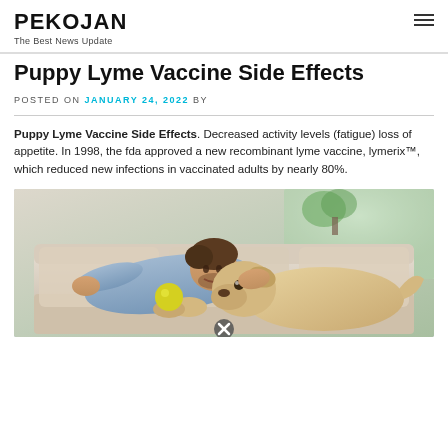PEKOJAN
The Best News Update
Puppy Lyme Vaccine Side Effects
POSTED ON JANUARY 24, 2022 BY
Puppy Lyme Vaccine Side Effects. Decreased activity levels (fatigue) loss of appetite. In 1998, the fda approved a new recombinant lyme vaccine, lymerix™, which reduced new infections in vaccinated adults by nearly 80%.
[Figure (photo): Man lying on a couch with a yellow Labrador dog, smiling and playing with a yellow ball toy.]